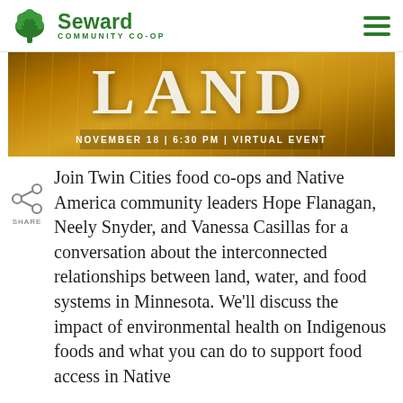Seward Community Co-op
[Figure (illustration): Banner image with golden wheat field background showing the word LAND in large letters, with text 'NOVEMBER 18 | 6:30 PM | VIRTUAL EVENT' below]
Join Twin Cities food co-ops and Native America community leaders Hope Flanagan, Neely Snyder, and Vanessa Casillas for a conversation about the interconnected relationships between land, water, and food systems in Minnesota. We'll discuss the impact of environmental health on Indigenous foods and what you can do to support food access in Native